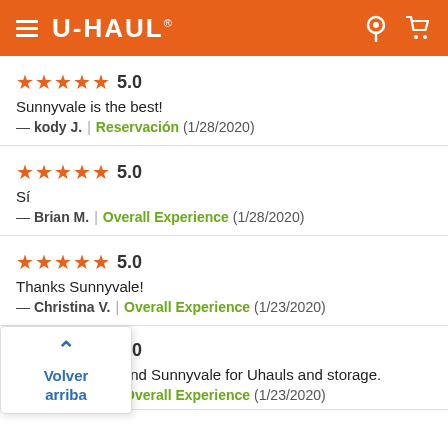U-HAUL
★★★★★ 5.0
Sunnyvale is the best!
— kody J. | Reservación (1/28/2020)
★★★★★ 5.0
Sí
— Brian M. | Overall Experience (1/28/2020)
★★★★★ 5.0
Thanks Sunnyvale!
— Christina V. | Overall Experience (1/23/2020)
★★★★★ 5.0
I highly recommend Sunnyvale for Uhauls and storage.
— Christina V. | Overall Experience (1/23/2020)